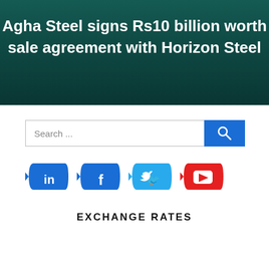[Figure (photo): News banner with teal/green background showing the headline: Agha Steel signs Rs10 billion worth sale agreement with Horizon Steel]
Agha Steel signs Rs10 billion worth sale agreement with Horizon Steel
[Figure (other): Search bar with text input field and blue search button with magnifying glass icon]
[Figure (other): Social media icon buttons: LinkedIn (dark blue pill), Facebook (dark blue pill), Twitter (light blue pill), YouTube (red pill)]
EXCHANGE RATES
[Figure (photo): Photo of various international currency notes fanned out, with a scroll-up arrow button in the bottom right corner]